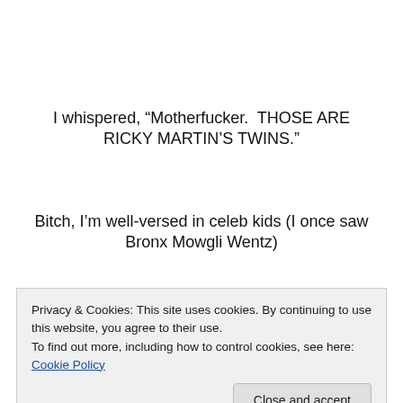I whispered, “Motherfucker.  THOSE ARE RICKY MARTIN’S TWINS.”
Bitch, I’m well-versed in celeb kids (I once saw Bronx Mowgli Wentz)
And Ricky Martin’s on the East Side SO THE 6 TRAIN WOULD MAKE SENSE!
Of course I kept real quiet (didn’t wanna seem a dork)
Privacy & Cookies: This site uses cookies. By continuing to use this website, you agree to their use.
To find out more, including how to control cookies, see here: Cookie Policy
I WOULD in fact roll, if I was actually from New York)